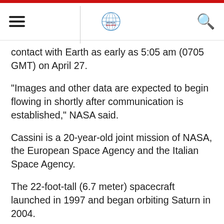World Bulletin
contact with Earth as early as 5:05 am (0705 GMT) on April 27.
"Images and other data are expected to begin flowing in shortly after communication is established," NASA said.
Cassini is a 20-year-old joint mission of NASA, the European Space Agency and the Italian Space Agency.
The 22-foot-tall (6.7 meter) spacecraft launched in 1997 and began orbiting Saturn in 2004.
Cassini is running low on fuel, and will make a death plunge into Saturn's surface on September 15.
The decision to end the mission was made in 2010, to avoid damaging moons like Enceladus, which